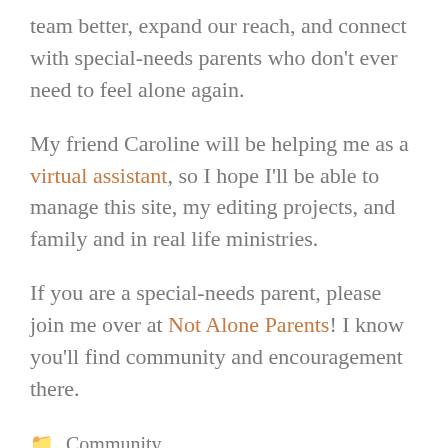team better, expand our reach, and connect with special-needs parents who don't ever need to feel alone again.
My friend Caroline will be helping me as a virtual assistant, so I hope I'll be able to manage this site, my editing projects, and family and in real life ministries.
If you are a special-needs parent, please join me over at Not Alone Parents! I know you'll find community and encouragement there.
Community
special needs
< Click Here: Vol. 23